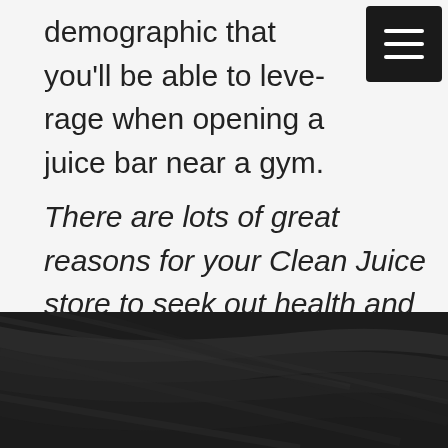demographic that you'll be able to leverage when opening a juice bar near a gym.
There are lots of great reasons for your Clean Juice store to seek out health and fitness franchise partnerships like the one we've just discussed. To find out more, reach out today!
[Figure (photo): Dark background with stylized dark leaf/plant shapes, serving as a footer section of the webpage]